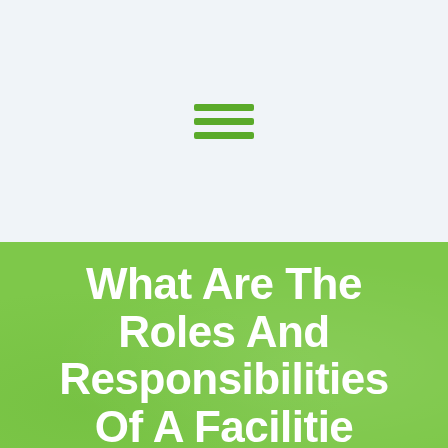[Figure (other): Green hamburger menu icon (three horizontal green bars) centered on a light grey-blue background]
What Are The Roles And Responsibilities Of A Facilitie...